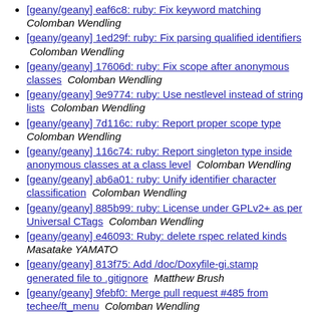[geany/geany] eaf6c8: ruby: Fix keyword matching  Colomban Wendling
[geany/geany] 1ed29f: ruby: Fix parsing qualified identifiers  Colomban Wendling
[geany/geany] 17606d: ruby: Fix scope after anonymous classes  Colomban Wendling
[geany/geany] 9e9774: ruby: Use nestlevel instead of string lists  Colomban Wendling
[geany/geany] 7d116c: ruby: Report proper scope type  Colomban Wendling
[geany/geany] 116c74: ruby: Report singleton type inside anonymous classes at a class level  Colomban Wendling
[geany/geany] ab6a01: ruby: Unify identifier character classification  Colomban Wendling
[geany/geany] 885b99: ruby: License under GPLv2+ as per Universal CTags  Colomban Wendling
[geany/geany] e46093: Ruby: delete rspec related kinds  Masatake YAMATO
[geany/geany] 813f75: Add /doc/Doxyfile-gi.stamp generated file to .gitignore  Matthew Brush
[geany/geany] 9febf0: Merge pull request #485 from techee/ft_menu  Colomban Wendling
[geany/geany] 83c2a0: Merge branch 'ruby/uctags-update'  Colomban Wendling
[geany/geany] 801698: Merge pull request #965 from